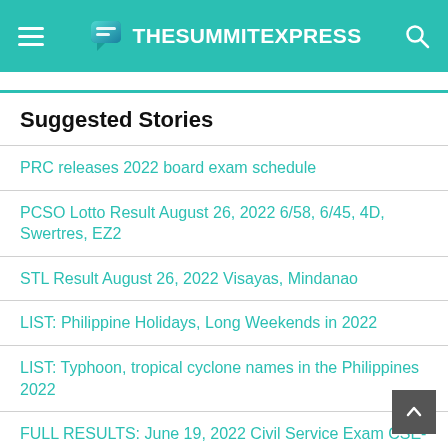TheSummitExpress
Suggested Stories
PRC releases 2022 board exam schedule
PCSO Lotto Result August 26, 2022 6/58, 6/45, 4D, Swertres, EZ2
STL Result August 26, 2022 Visayas, Mindanao
LIST: Philippine Holidays, Long Weekends in 2022
LIST: Typhoon, tropical cyclone names in the Philippines 2022
FULL RESULTS: June 19, 2022 Civil Service Exam CSE-PPT list of passers, top 10
'Buwan ng Wika' 2022 theme, official memo, poster, sample slogan